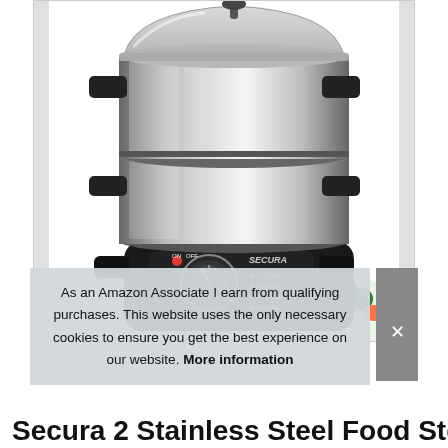[Figure (photo): Secura 2-tier stainless steel food steamer with black base, timer dial with red ON indicator, SECURA branding, glass lid on top tier, handles on both tiers. Vegetables visible in bottom right corner.]
As an Amazon Associate I earn from qualifying purchases. This website uses the only necessary cookies to ensure you get the best experience on our website. More information
Secura 2 Stainless Steel Food Steamer